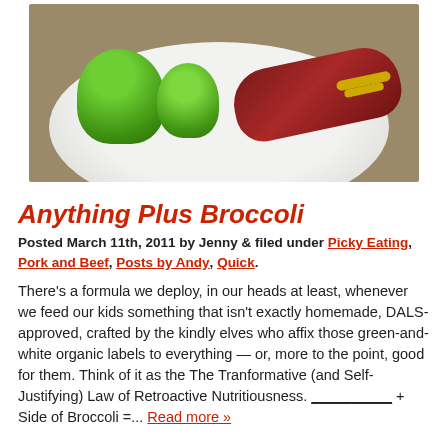[Figure (photo): Photo of a plate with broccoli florets and a bacon-wrapped hot dog with mustard on a white plate against a tan background]
Anything Plus Broccoli
Posted March 11th, 2011 by Jenny & filed under Picky Eating, Pork and Beef, Posts by Andy, Quick.
There's a formula we deploy, in our heads at least, whenever we feed our kids something that isn't exactly homemade, DALS-approved, crafted by the kindly elves who affix those green-and-white organic labels to everything — or, more to the point, good for them. Think of it as the The Tranformative (and Self-Justifying) Law of Retroactive Nutritiousness. __________ + Side of Broccoli =... Read more »